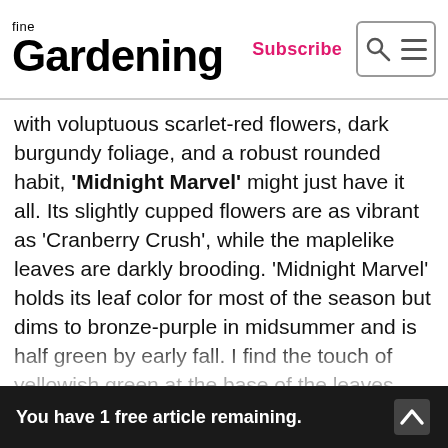fine Gardening | Subscribe
with voluptuous scarlet-red flowers, dark burgundy foliage, and a robust rounded habit, 'Midnight Marvel' might just have it all. Its slightly cupped flowers are as vibrant as 'Cranberry Crush', while the maplelike leaves are darkly brooding. 'Midnight Marvel' holds its leaf color for most of the season but dims to bronze-purple in midsummer and is half green by early fall. I find the touch of yellowish green at the base of the leaves quite fetching but wish 'Midnight Marvel' also had the striking yellow-green terminal leaves of the cultivar 'Summer Storm'. Like so many of the new selections, 'Midnight Marvel' is very long blooming and handsome at every stage.
You have 1 free article remaining.